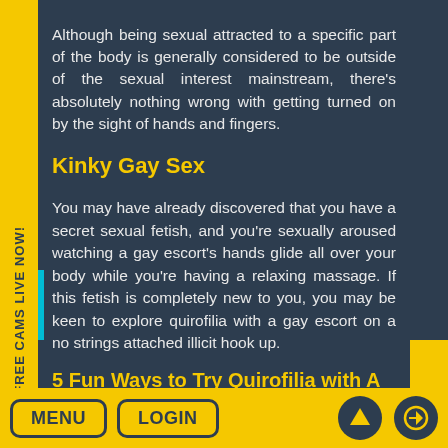Although being sexual attracted to a specific part of the body is generally considered to be outside of the sexual interest mainstream, there's absolutely nothing wrong with getting turned on by the sight of hands and fingers.
Kinky Gay Sex
You may have already discovered that you have a secret sexual fetish, and you're sexually aroused watching a gay escort's hands glide all over your body while you're having a relaxing massage. If this fetish is completely new to you, you may be keen to explore quirofilia with a gay escort on a no strings attached illicit hook up.
5 Fun Ways to Try Quirofilia with A Gay Escort
Gay Escorts are gay sex experts so if you want to try this, or any other fetish Gay escorts
MENU  LOGIN